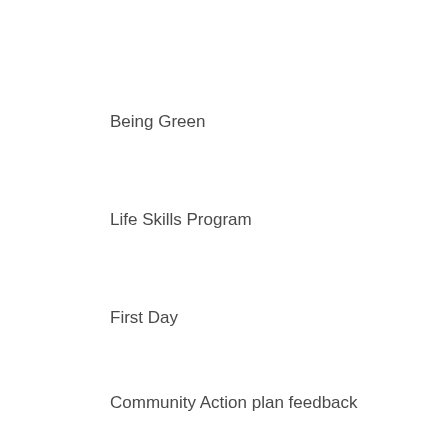Being Green
Life Skills Program
First Day
Community Action plan feedback
"Do you believe in witchcraft?"
[Figure (other): Back-to-top arrow button, grey square with upward chevron icon]